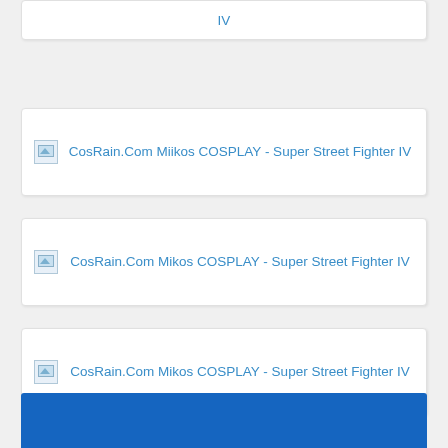[Figure (screenshot): Partial card at top showing broken image icon and link text 'CosRain.Com Miiko's COSPLAY - Super Street Fighter IV']
[Figure (screenshot): Card with broken image icon and link text 'CosRain.Com Miiko's COSPLAY - Super Street Fighter IV']
[Figure (screenshot): Card with broken image icon and link text 'CosRain.Com Miiko's COSPLAY - Super Street Fighter IV']
[Figure (screenshot): Card with broken image icon and link text 'CosRain.Com Miiko's COSPLAY - Super Street Fighter IV']
[Figure (screenshot): Card with broken image icon and link text 'CosRain.Com Miiko's COSPLAY - Super Street Fighter IV']
[Figure (screenshot): Blue rectangle block at the bottom of page]